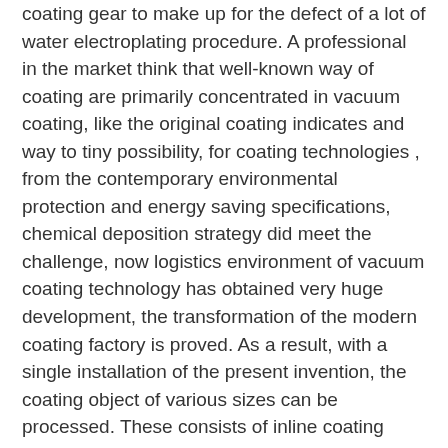coating gear to make up for the defect of a lot of water electroplating procedure. A professional in the market think that well-known way of coating are primarily concentrated in vacuum coating, like the original coating indicates and way to tiny possibility, for coating technologies , from the contemporary environmental protection and energy saving specifications, chemical deposition strategy did meet the challenge, now logistics environment of vacuum coating technology has obtained very huge development, the transformation of the modern coating factory is proved. As a result, with a single installation of the present invention, the coating object of various sizes can be processed. These consists of inline coating strategies with magnetron sputtering cathodes and ion beam sources of a length up to 6 meters. Depending upon the size of the physical vapor deposition and ion beam sources not all can be used simultaneously.